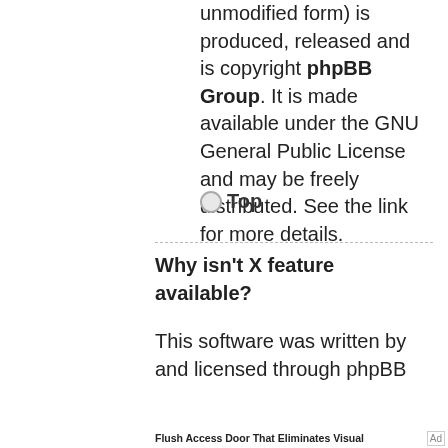unmodified form) is produced, released and is copyright phpBB Group. It is made available under the GNU General Public License and may be freely distributed. See the link for more details.
◦ Top
Why isn't X feature available?
This software was written by and licensed through phpBB
[Figure (other): Advertisement banner with green OPEN button and caption: Flush Access Door That Eliminates Visual Distraction.]